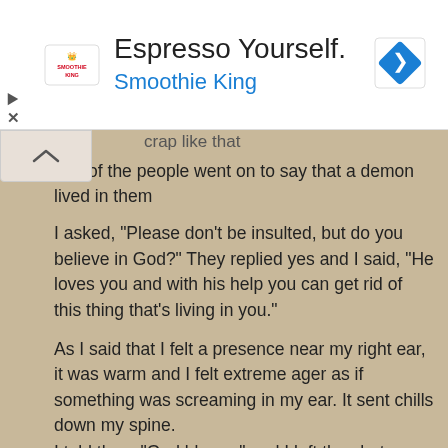[Figure (screenshot): Advertisement banner for Smoothie King with logo, headline 'Espresso Yourself.', subline 'Smoothie King', and a blue diamond-shaped arrow icon on the right.]
crap like that
one of the people went on to say that a demon lived in them

I asked, "Please don't be insulted, but do you believe in God?" They replied yes and I said, "He loves you and with his help you can get rid of this thing that's living in you."

As I said that I felt a presence near my right ear, it was warm and I felt extreme ager as if something was screaming in my ear. It sent chills down my spine.
I told them,"God blesss." and I left the chat immediatley.

Ghost lover, I'm sure you may already be aware but, through God, those things can't touch you.

"Behold, I give unto you power to tread on serpents and scorpions, and over all the power of the enemy: and nothing shall by any means hurt you." Luke 10:19